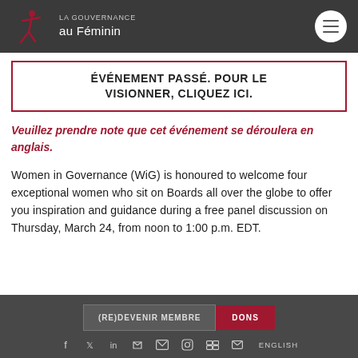LA GOUVERNANCE au Féminin
ÉVÉNEMENT PASSÉ. POUR LE VISIONNER, CLIQUEZ ICI.
Veuillez prendre note que cet événement se déroulera en anglais.
Women in Governance (WiG) is honoured to welcome four exceptional women who sit on Boards all over the globe to offer you inspiration and guidance during a free panel discussion on Thursday, March 24, from noon to 1:00 p.m. EDT.
(RE)DEVENIR MEMBRE  DONS  ENGLISH